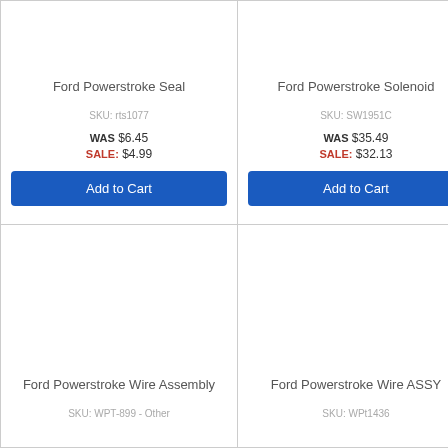Ford Powerstroke Seal
SKU: rts1077
WAS $6.45
SALE: $4.99
Add to Cart
Ford Powerstroke Solenoid
SKU: SW1951C
WAS $35.49
SALE: $32.13
Add to Cart
Ford Powerstroke Wire Assembly
SKU: WPT-899 - Other
Ford Powerstroke Wire ASSY
SKU: WPt1436